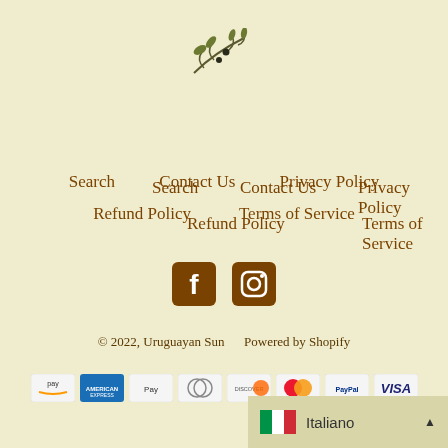[Figure (logo): Olive branch logo illustration — dark olive branch with leaves and olives]
Search
Contact Us
Privacy Policy
Refund Policy
Terms of Service
[Figure (logo): Facebook icon (brown square with F) and Instagram icon (brown square with camera outline)]
© 2022, Uruguayan Sun
Powered by Shopify
[Figure (other): Payment method icons: Amazon Pay, American Express, Apple Pay, Diners Club, Discover, Mastercard, PayPal, Visa]
Italiano